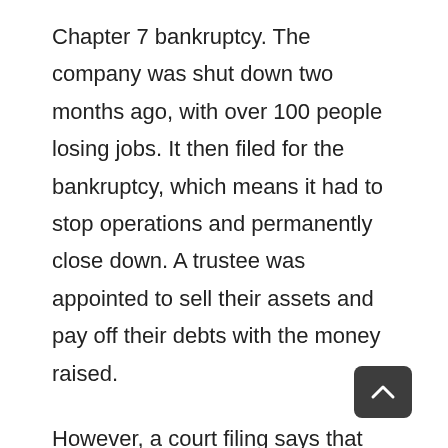Chapter 7 bankruptcy. The company was shut down two months ago, with over 100 people losing jobs. It then filed for the bankruptcy, which means it had to stop operations and permanently close down. A trustee was appointed to sell their assets and pay off their debts with the money raised.
However, a court filing says that one of the company's creditors believes the trustee is negotiating to sell the plant and all assets. The trustee had started a marketing campaign in an effort to sell off the bottling plant and